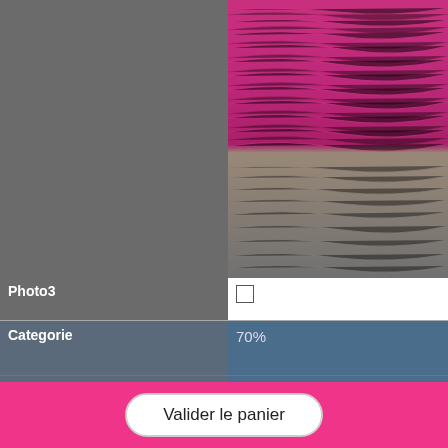[Figure (photo): Close-up photograph of pink/magenta yarn fibers on top of grey fabric background]
| Field | Value |
| --- | --- |
| Photo3 | ☐ |
| Categorie | 70% ACRYLIC FX / 30% LAINE |
| Compo | 50% ACRYLIQUE/50% LAINE |
| Qualite | 5027 |
| NM | 2 280 |
Valider le panier